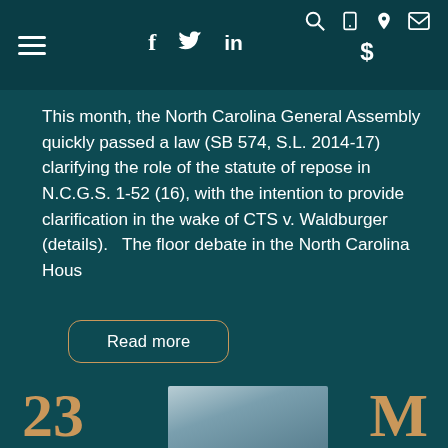≡  f  🐦  in  🔍  📱  📍  ✉  $
This month, the North Carolina General Assembly quickly passed a law (SB 574, S.L. 2014-17) clarifying the role of the statute of repose in N.C.G.S. 1-52 (16), with the intention to provide clarification in the wake of CTS v. Waldburger (details).   The floor debate in the North Carolina Hous
Read more
23
M